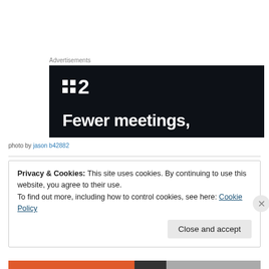Advertisements
[Figure (other): Dark background advertisement banner for a product/service called ':2' with tagline 'Fewer meetings,']
photo by jason b42882
Privacy & Cookies: This site uses cookies. By continuing to use this website, you agree to their use.
To find out more, including how to control cookies, see here: Cookie Policy